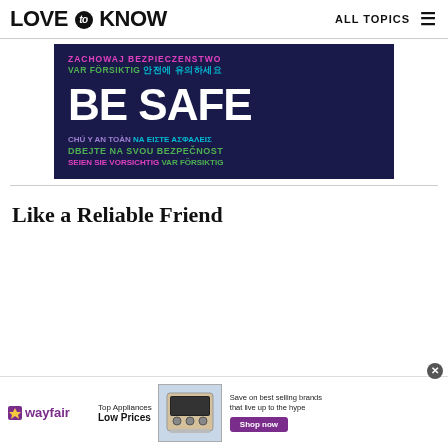LOVE to KNOW   ALL TOPICS
[Figure (illustration): Dark navy background image with multilingual 'Be Safe' text. Top line in pink: 'ZACHOWAJ BEZPIECZENSTWO', second line in green 'VAR FÖRSIKTIG' and cyan '안전에 유의하세요', large white center text 'BE SAFE', then purple 'CHÚ Y AN TOÀN' and cyan 'ΝΑ ΕΙΣΤΕ ΑΣΦΑΛΕΙΣ', green 'DBEJTE NA SVOU BEZPEČNOST', pink 'SEIEN SIE VORSICHTIG' and green 'VAR FÖRSIKTIG']
Like a Reliable Friend
[Figure (other): Wayfair advertisement banner: Wayfair logo, 'Top Appliances Low Prices', image of a stove/range, 'Save on best selling brands that live up to the hype', purple 'Shop now' button]